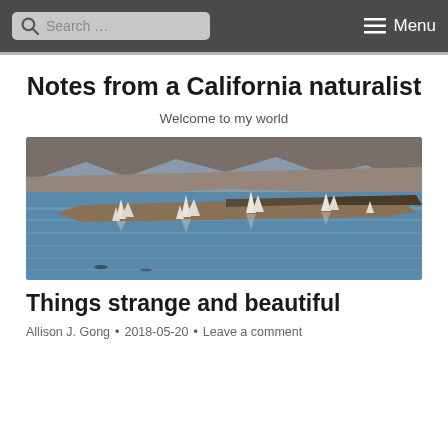Search ... Menu
Notes from a California naturalist
Welcome to my world
[Figure (photo): Landscape photo of a lake (likely Mono Lake) with white tufa rock formations rising from calm blue water, a brown island/shoreline strip in the middle distance, and hills/mountains in the background under a gray-blue sky.]
Things strange and beautiful
Allison J. Gong • 2018-05-20 • Leave a comment